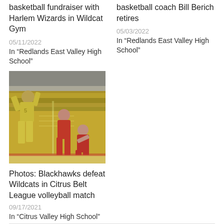basketball fundraiser with Harlem Wizards in Wildcat Gym
05/11/2022
In "Redlands East Valley High School"
basketball coach Bill Berich retires
05/03/2022
In "Redlands East Valley High School"
[Figure (photo): Volleyball match photo showing players jumping at the net, one player in yellow spiking, others in red defending, gymnasium with wooden bleachers in background]
Photos: Blackhawks defeat Wildcats in Citrus Belt League volleyball match
09/17/2021
In "Citrus Valley High School"